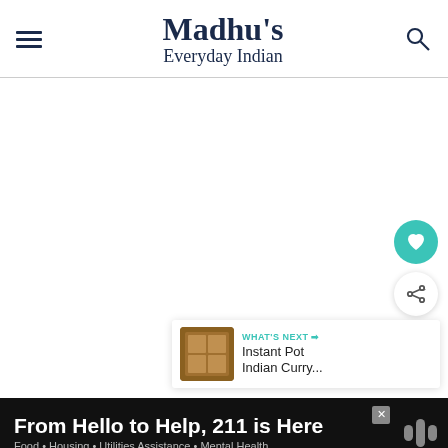Madhu's Everyday Indian
[Figure (screenshot): Main content area of a food blog website - blank white space with social sharing buttons (heart/favorite button in teal and share button in white) and a 'What's Next' card showing 'Instant Pot Indian Curry...' with a thumbnail image]
WHAT'S NEXT → Instant Pot Indian Curry...
From Hello to Help, 211 is Here
Food • Housing • Utilities Assistance • Mental Health